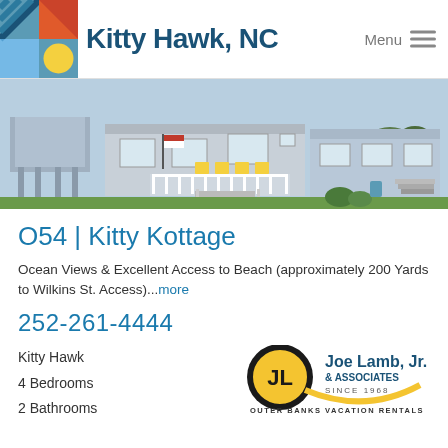Kitty Hawk, NC
[Figure (photo): Exterior photo of a beach cottage with white railings, yellow chairs on deck, American flag, green lawn, and adjacent structure]
O54 | Kitty Kottage
Ocean Views & Excellent Access to Beach (approximately 200 Yards to Wilkins St. Access)...more
252-261-4444
Kitty Hawk
4 Bedrooms
2 Bathrooms
[Figure (logo): Joe Lamb, Jr. & Associates Since 1968 Outer Banks Vacation Rentals logo]